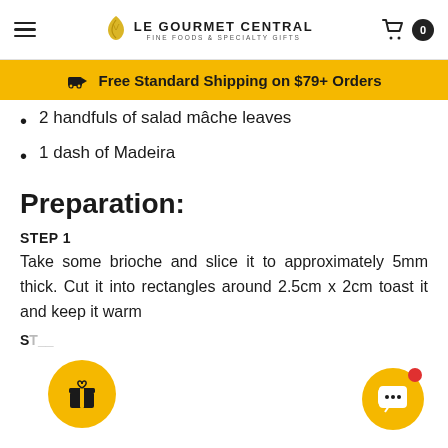LE GOURMET CENTRAL FINE FOODS & SPECIALTY GIFTS
Free Standard Shipping on $79+ Orders
2 handfuls of salad mâche leaves
1 dash of Madeira
Preparation:
STEP 1
Take some brioche and slice it to approximately 5mm thick. Cut it into rectangles around 2.5cm x 2cm toast it and keep it warm
STEP 2